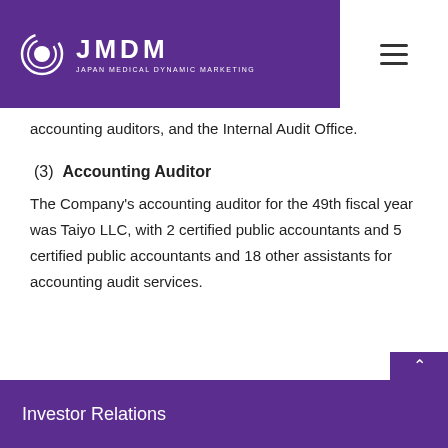JMDM — JAPAN MEDICAL DYNAMIC MARKETING
accounting auditors, and the Internal Audit Office.
(3)  Accounting Auditor
The Company's accounting auditor for the 49th fiscal year was Taiyo LLC, with 2 certified public accountants and 5 certified public accountants and 18 other assistants for accounting audit services.
Investor Relations